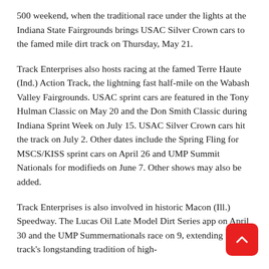500 weekend, when the traditional race under the lights at the Indiana State Fairgrounds brings USAC Silver Crown cars to the famed mile dirt track on Thursday, May 21.
Track Enterprises also hosts racing at the famed Terre Haute (Ind.) Action Track, the lightning fast half-mile on the Wabash Valley Fairgrounds. USAC sprint cars are featured in the Tony Hulman Classic on May 20 and the Don Smith Classic during Indiana Sprint Week on July 15. USAC Silver Crown cars hit the track on July 2. Other dates include the Spring Fling for MSCS/KISS sprint cars on April 26 and UMP Summit Nationals for modifieds on June 7. Other shows may also be added.
Track Enterprises is also involved in historic Macon (Ill.) Speedway. The Lucas Oil Late Model Dirt Series app on April 30 and the UMP Summernationals race on 9, extending the track's longstanding tradition of high-